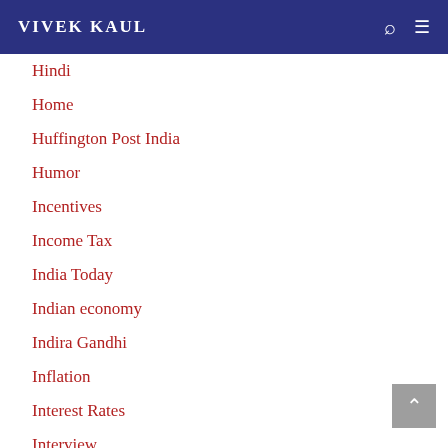VIVEK KAUL
Hindi
Home
Huffington Post India
Humor
Incentives
Income Tax
India Today
Indian economy
Indira Gandhi
Inflation
Interest Rates
Interview
Investing